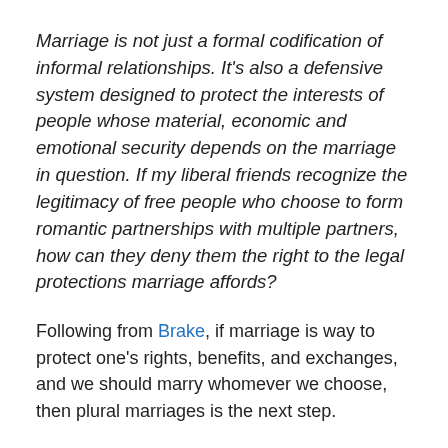Marriage is not just a formal codification of informal relationships. It's also a defensive system designed to protect the interests of people whose material, economic and emotional security depends on the marriage in question. If my liberal friends recognize the legitimacy of free people who choose to form romantic partnerships with multiple partners, how can they deny them the right to the legal protections marriage affords?
Following from Brake, if marriage is way to protect one's rights, benefits, and exchanges, and we should marry whomever we choose, then plural marriages is the next step.
Same-sex marriage advocates don't want to go this far because they consider plural marriage committing the slippery slope fallacy. However, this is only a slippery